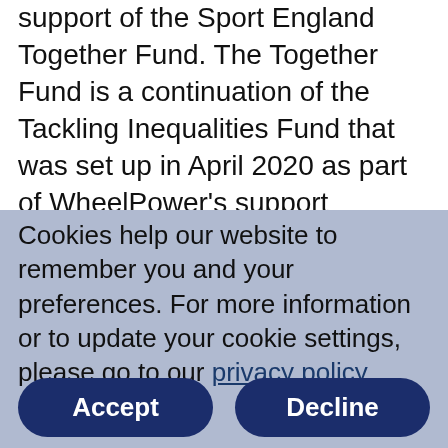support of the Sport England Together Fund. The Together Fund is a continuation of the Tackling Inequalities Fund that was set up in April 2020 as part of WheelPower's support package to help the sport and physical activity sector through the COVID-19 crisis. It saw another £20 million of National Lottery [cut off]
Cookies help our website to remember you and your preferences. For more information or to update your cookie settings, please go to our privacy policy.